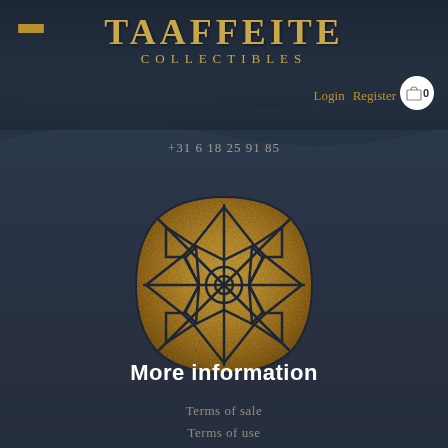TAAFFEITE COLLECTIBLES
Login  Register
+31 6 18 25 91 85
[Figure (logo): Gold geometric gem/jewel logo with faceted cushion-cut shape in dark navy and gold coloring, featuring a lattice pattern of diamond shapes radiating from center]
More information
Terms of sale
Terms of use
Shipping